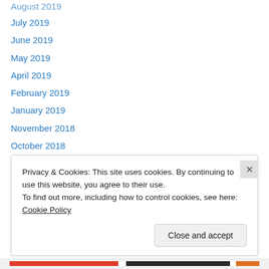August 2019
July 2019
June 2019
May 2019
April 2019
February 2019
January 2019
November 2018
October 2018
September 2018
August 2018
June 2018
May 2018
April 2018
Privacy & Cookies: This site uses cookies. By continuing to use this website, you agree to their use.
To find out more, including how to control cookies, see here: Cookie Policy